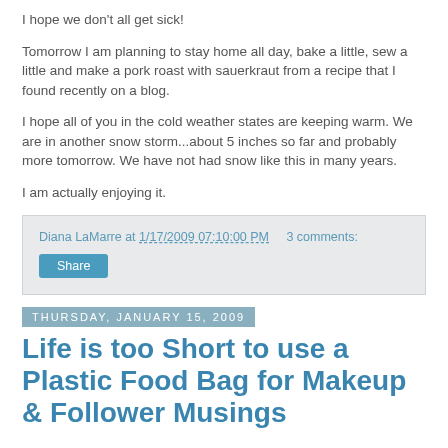I hope we don't all get sick!
Tomorrow I am planning to stay home all day, bake a little, sew a little and make a pork roast with sauerkraut from a recipe that I found recently on a blog.
I hope all of you in the cold weather states are keeping warm. We are in another snow storm...about 5 inches so far and probably more tomorrow. We have not had snow like this in many years.
I am actually enjoying it.
Diana LaMarre at 1/17/2009 07:10:00 PM    3 comments:
Share
Thursday, January 15, 2009
Life is too Short to use a Plastic Food Bag for Makeup & Follower Musings